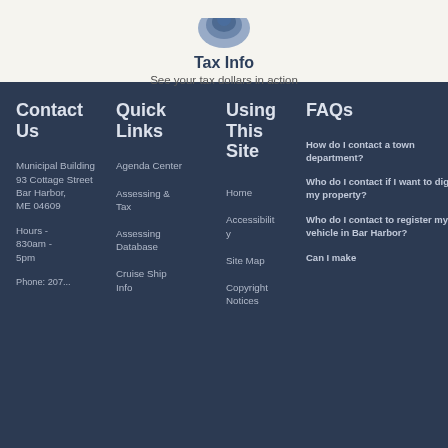[Figure (logo): Blue decorative seal/logo of Bar Harbor municipality, partially visible at top]
Tax Info
See your tax dollars in action
Contact Us
Quick Links
Using This Site
FAQs
Municipal Building
93 Cottage Street
Bar Harbor, ME 04609
Hours - 830am - 5pm
Agenda Center
Assessing & Tax
Assessing Database
Cruise Ship Info
Home
Accessibility
Site Map
Copyright Notices
How do I contact a town department?
Who do I contact if I want to dig on my property?
Who do I contact to register my vehicle in Bar Harbor?
Can I make